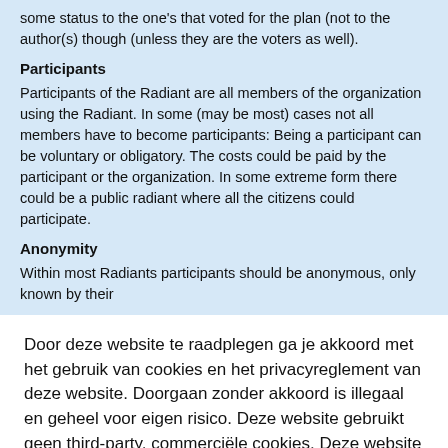some status to the one's that voted for the plan (not to the author(s) though (unless they are the voters as well).
Participants
Participants of the Radiant are all members of the organization using the Radiant. In some (may be most) cases not all members have to become participants: Being a participant can be voluntary or obligatory. The costs could be paid by the participant or the organization. In some extreme form there could be a public radiant where all the citizens could participate.
Anonymity
Within most Radiants participants should be anonymous, only known by their
Door deze website te raadplegen ga je akkoord met het gebruik van cookies en het privacyreglement van deze website. Doorgaan zonder akkoord is illegaal en geheel voor eigen risico. Deze website gebruikt geen third-party, commerciële cookies. Deze website traceert ip's om aanvallen te kunnen onderscheppen en melden.
Cookie Settings
Accept All